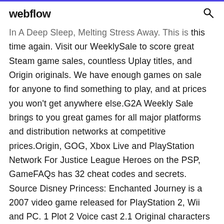webflow
In A Deep Sleep, Melting Stress Away. This is this time again. Visit our WeeklySale to score great Steam game sales, countless Uplay titles, and Origin originals. We have enough games on sale for anyone to find something to play, and at prices you won't get anywhere else.G2A Weekly Sale brings to you great games for all major platforms and distribution networks at competitive prices.Origin, GOG, Xbox Live and PlayStation Network For Justice League Heroes on the PSP, GameFAQs has 32 cheat codes and secrets. Source Disney Princess: Enchanted Journey is a 2007 video game released for PlayStation 2, Wii and PC. 1 Plot 2 Voice cast 2.1 Original characters 2.2 From The Little Mermaid